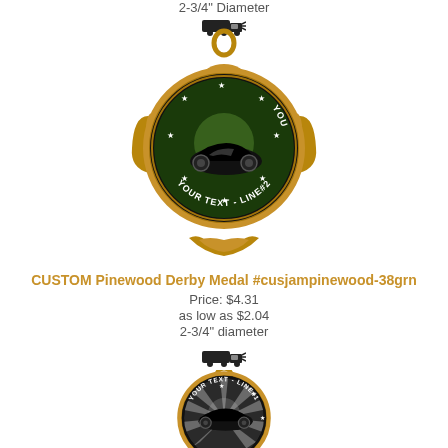2-3/4" Diameter
[Figure (illustration): Shipping truck icon]
[Figure (photo): Custom Pinewood Derby Medal with green background, bronze frame, text YOUR TEXT LINE#1 and YOUR TEXT LINE#2, pinewood derby car image]
CUSTOM Pinewood Derby Medal #cusjampinewood-38grn
Price: $4.31
as low as $2.04
2-3/4" diameter
[Figure (illustration): Shipping truck icon]
[Figure (photo): Custom Pinewood Derby Medal with silver/white background, bronze frame, text YOUR TEXT LINE#1, pinewood derby car image, partially visible]